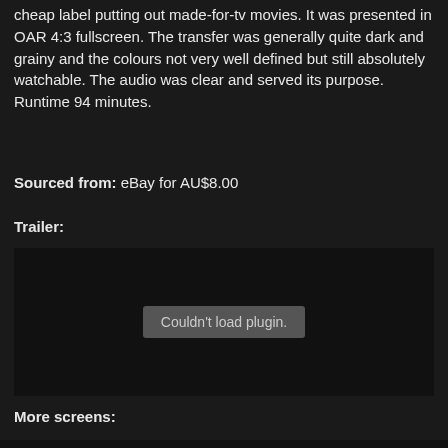cheap label putting out made-for-tv movies. It was presented in OAR 4:3 fullscreen. The transfer was generally quite dark and grainy and the colours not very well defined but still absolutely watchable. The audio was clear and served its purpose. Runtime 94 minutes.
Sourced from: eBay for AU$8.00
Trailer:
[Figure (other): Embedded video plugin area showing 'Couldn't load plugin.' error message on dark background]
More screens: